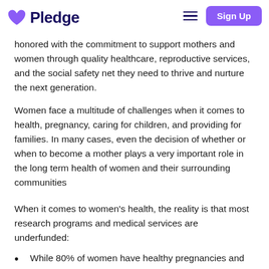Pledge | Sign Up
honored with the commitment to support mothers and women through quality healthcare, reproductive services, and the social safety net they need to thrive and nurture the next generation.
Women face a multitude of challenges when it comes to health, pregnancy, caring for children, and providing for families. In many cases, even the decision of whether or when to become a mother plays a very important role in the long term health of women and their surrounding communities
When it comes to women's health, the reality is that most research programs and medical services are underfunded:
While 80% of women have healthy pregnancies and